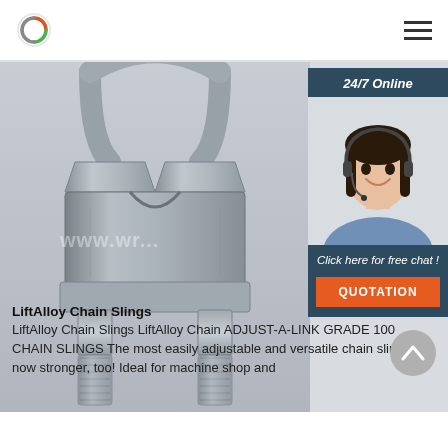LiftAlloy logo and navigation menu
[Figure (photo): Close-up photo of a galvanized steel wire rope clip / U-bolt clamp hardware component with a watermark overlay]
[Figure (infographic): 24/7 Online customer service widget with photo of smiling female customer service representative wearing headset, with 'Click here for free chat!' text and orange QUOTATION button]
LiftAlloy Chain Slings
LiftAlloy Chain Slings LiftAlloy Chain ADJUST-A-LINK GRADE 100 CHAIN SLINGS The most easily adjustable and versatile chain sling is now stronger, too! Ideal for machine shop and